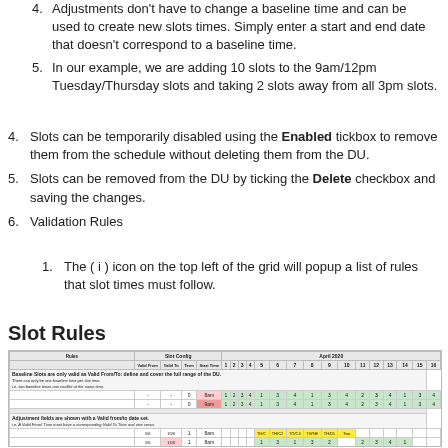4. Adjustments don't have to change a baseline time and can be used to create new slots times. Simply enter a start and end date that doesn't correspond to a baseline time.
5. In our example, we are adding 10 slots to the 9am/12pm Tuesday/Thursday slots and taking 2 slots away from all 3pm slots.
4. Slots can be temporarily disabled using the Enabled tickbox to remove them from the schedule without deleting them from the DU.
5. Slots can be removed from the DU by ticking the Delete checkbox and saving the changes.
6. Validation Rules
1. The ( i ) icon on the top left of the grid will popup a list of rules that slot times must follow.
Slot Rules
[Figure (screenshot): Screenshot of the Slot Rules grid interface showing a table with columns for Rules, Slot Config (Valid From, Valid To, Term, Start Time) and April 2020 date columns (1-16). Rows are grouped into sections: Baseline Slots (shown with green cells), Adjustment fields with Valid from/to dates (some cells highlighted in red/pink), and Adjustment Rows with additional adjustment entries. The table uses color coding: green for valid/active slots, red/pink for conflicts or adjustments.]